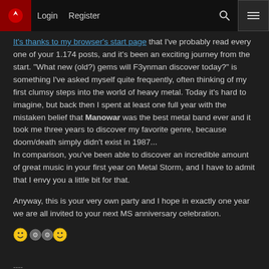Login  Register
It's thanks to my browser's start page that I've probably read every one of your 1.174 posts, and it's been an exciting journey from the start. "What new (old?) gems will F3ynman discover today?" is something I've asked myself quite frequently, often thinking of my first clumsy steps into the world of heavy metal. Today it's hard to imagine, but back then I spent at least one full year with the mistaken belief that Manowar was the best metal band ever and it took me three years to discover my favorite genre, because doom/death simply didn't exist in 1987...
In comparison, you've been able to discover an incredible amount of great music in your first year on Metal Storm, and I have to admit that I envy you a little bit for that.
Anyway, this is your very own party and I hope in exactly one year we are all invited to your next MS anniversary celebration.
[Figure (other): Emoji icons: smiley face, two crossed hammers/tools, smiley face]
----
signatures = SPAM